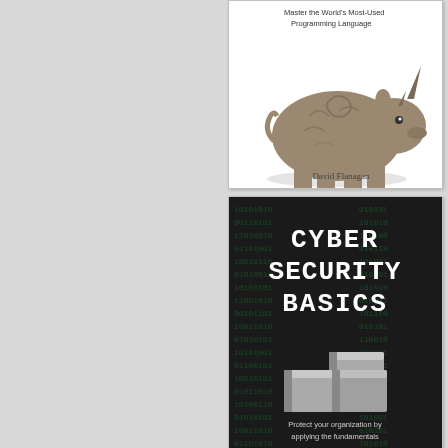[Figure (illustration): Book cover: JavaScript: The Definitive Guide – 'Master the World's Most-Used Programming Language' by David Flanagan. White background with a rhinoceros illustration.]
[Figure (illustration): Book cover: Cyber Security Basics – 'Protect your organization by applying the fundamentals' by Don Franke (CISSP, CISM, MCP). Dark background with binary code pattern and stone blocks image.]
Macos Support Essentials 11